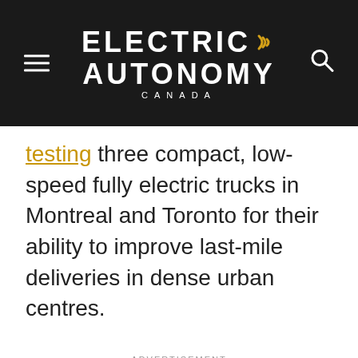Electric Autonomy Canada
testing three compact, low-speed fully electric trucks in Montreal and Toronto for their ability to improve last-mile deliveries in dense urban centres.
ADVERTISEMENT